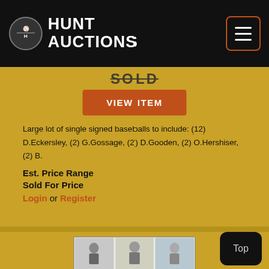Hunt Auctions
SOLD
VIEW ITEM
Large lot of single signed baseballs to include: (12) D.Eckersley, (2) G.Gossage, (2) D.Gooden, (2) O.Hershiser, (2) B.
Est. Price Range
Sold For Price
Login or Register
[Figure (photo): Collage of signed baseball player photographs]